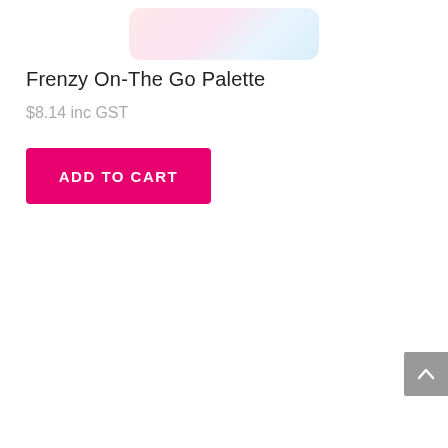[Figure (photo): Partial view of a makeup palette product image, cropped at top of page, showing pastel pink and light blue color swatches in a rounded rectangular compact]
Frenzy On-The Go Palette
$8.14 inc GST
[Figure (other): ADD TO CART button - hot pink/magenta rectangular button with white bold uppercase text]
[Figure (other): Back to top button - grey square button with white upward chevron arrow, positioned at bottom right]